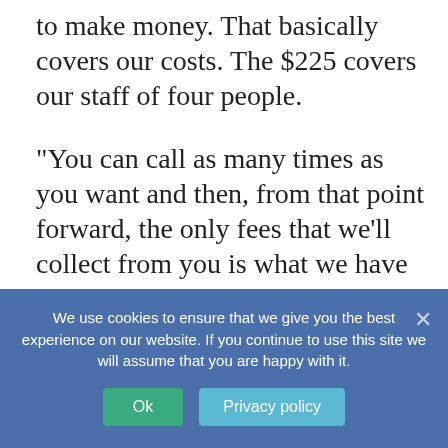to make money. That basically covers our costs. The $225 covers our staff of four people.
“You can call as many times as you want and then, from that point forward, the only fees that we’ll collect from you is what we have to forward to the state. It makes it really simple on the applicant. Once they get an application and a fingerprint on file with us, all they have to do is call or email and say ‘add Kentucky for me’ or whatever.”
Member jurisdictions are: Arizona, California
We use cookies to ensure that we give you the best experience on our website. If you continue to use this site we will assume that you are happy with it.